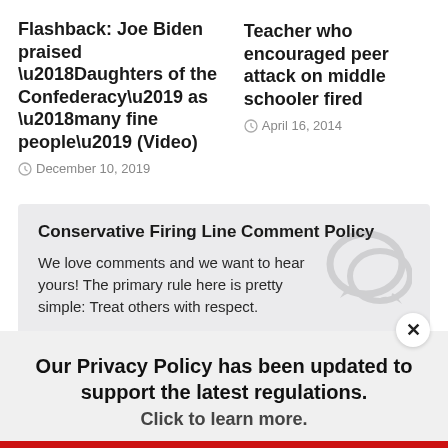Flashback: Joe Biden praised ‘Daughters of the Confederacy’ as ‘many fine people’ (Video)
December 10, 2019
Teacher who encouraged peer attack on middle schooler fired
April 16, 2014
Conservative Firing Line Comment Policy
We love comments and we want to hear yours! The primary rule here is pretty simple: Treat others with respect.
Our Privacy Policy has been updated to support the latest regulations. Click to learn more.